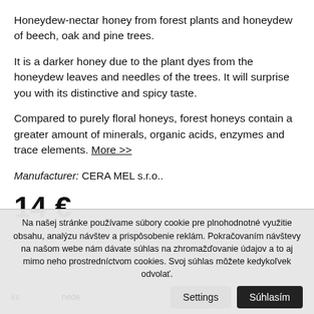Honeydew-nectar honey from forest plants and honeydew of beech, oak and pine trees.
It is a darker honey due to the plant dyes from the honeydew leaves and needles of the trees. It will surprise you with its distinctive and spicy taste.
Compared to purely floral honeys, forest honeys contain a greater amount of minerals, organic acids, enzymes and trace elements. More >>
Manufacturer: CERA MEL s.r.o..
14 €
Na našej stránke používame súbory cookie pre plnohodnotné využitie obsahu, analýzu návštev a prispôsobenie reklám. Pokračovaním návštevy na našom webe nám dávate súhlas na zhromažďovanie údajov a to aj mimo neho prostredníctvom cookies. Svoj súhlas môžete kedykoľvek odvolať.